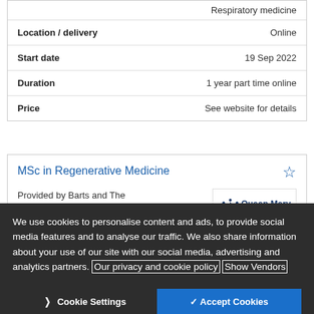| Field | Value |
| --- | --- |
|  | Respiratory medicine |
| Location / delivery | Online |
| Start date | 19 Sep 2022 |
| Duration | 1 year part time online |
| Price | See website for details |
MSc in Regenerative Medicine
Provided by Barts and The London School of Medicine and Dentistry
[Figure (logo): Queen Mary University of London - Barts and The London logo]
We use cookies to personalise content and ads, to provide social media features and to analyse our traffic. We also share information about your use of our site with our social media, advertising and analytics partners. Our privacy and cookie policy Show Vendors